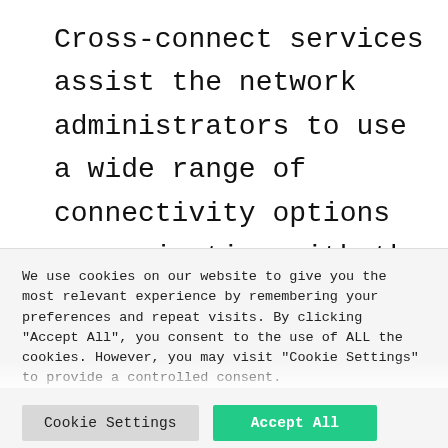Cross-connect services assist the network administrators to use a wide range of connectivity options communicating with the chosen partners. As a Carrier neutral data center, we create a reliable and scalable IT infrastructure that will give
We use cookies on our website to give you the most relevant experience by remembering your preferences and repeat visits. By clicking "Accept All", you consent to the use of ALL the cookies. However, you may visit "Cookie Settings" to provide a controlled consent.